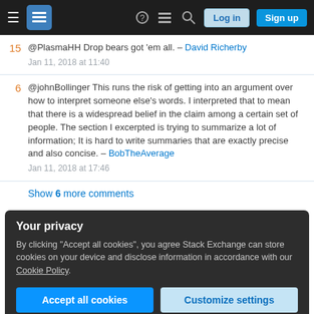Stack Exchange navigation bar with Log in and Sign up buttons
15 @PlasmaHH Drop bears got 'em all. – David Richerby Jan 11, 2018 at 11:40
6 @johnBollinger This runs the risk of getting into an argument over how to interpret someone else's words. I interpreted that to mean that there is a widespread belief in the claim among a certain set of people. The section I excerpted is trying to summarize a lot of information; It is hard to write summaries that are exactly precise and also concise. – BobTheAverage Jan 11, 2018 at 17:46
Show 6 more comments
Your privacy
By clicking "Accept all cookies", you agree Stack Exchange can store cookies on your device and disclose information in accordance with our Cookie Policy.
Accept all cookies | Customize settings